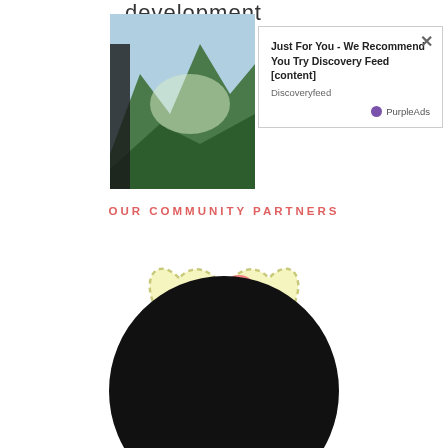development
[Figure (screenshot): Advertisement overlay showing 'Just For You - We Recommend You Try Discovery Feed [content]' from Discoveryfeed with PurpleAds branding and a mountain landscape thumbnail]
OUR COMMUNITY PARTNERS
[Figure (logo): Mommy Bloggers Philippines logo - heart shape in pale yellow with dashed border, pink mother and child silhouette figures, green ribbon banner with text 'Mommy Bloggers Philippines']
[Figure (other): Black semicircle/circle partially visible at bottom of page]